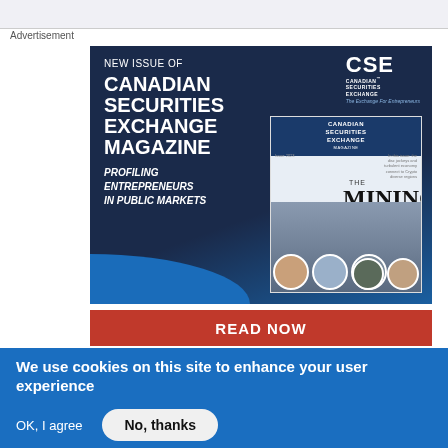Advertisement
[Figure (illustration): Advertisement banner for Canadian Securities Exchange Magazine - Mining Issue. Dark navy blue background with magazine cover mockup showing people portraits, 'NEW ISSUE OF CANADIAN SECURITIES EXCHANGE MAGAZINE', 'PROFILING ENTREPRENEURS IN PUBLIC MARKETS' text, CSE logo, and a RED 'READ NOW' button.]
We use cookies on this site to enhance your user experience
By clicking "Agree," you accept the use of cookies on this site.
More information
OK, I agree
No, thanks